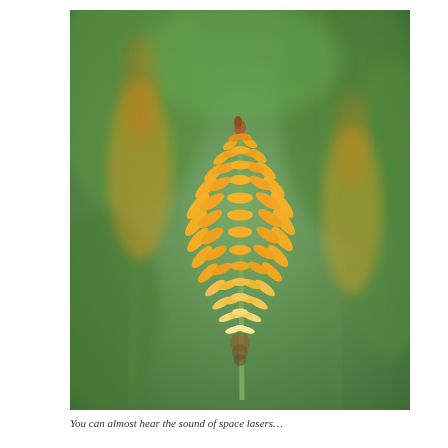[Figure (photo): Close-up photograph of orange-yellow torch lily (Kniphofia) flowers in bloom, with multiple cone-shaped flower spikes densely covered in tubular orange-yellow florets against a blurred green foliage background.]
You can almost hear the sound of space lasers…